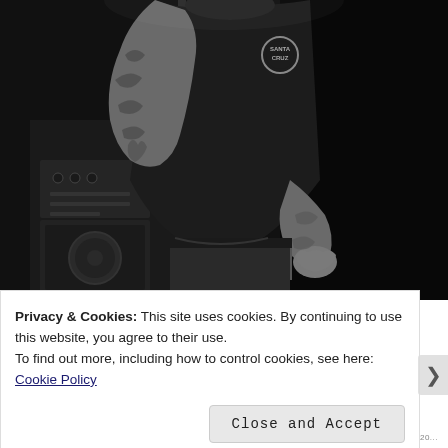[Figure (photo): Black and white concert photograph of a tattooed male performer on stage, wearing a dark t-shirt with a circular logo on the chest, holding a microphone stand, with amplifier equipment visible in the background.]
Privacy & Cookies: This site uses cookies. By continuing to use this website, you agree to their use.
To find out more, including how to control cookies, see here:
Cookie Policy
Close and Accept